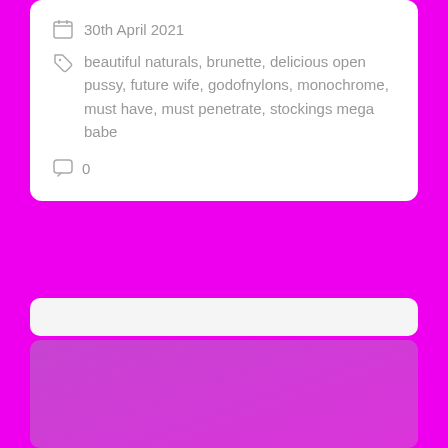30th April 2021
beautiful naturals, brunette, delicious open pussy, future wife, godofnylons, monochrome, must have, must penetrate, stockings mega babe
0
[Figure (other): Partially visible card with magenta/pink background image at the bottom of the page]